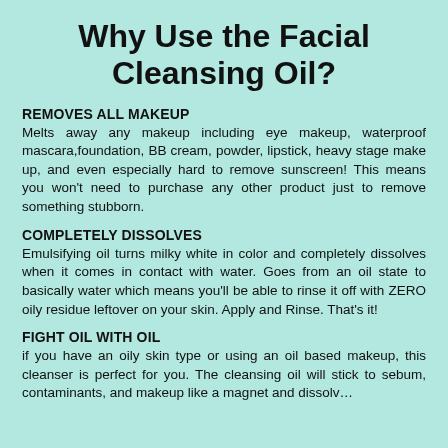Why Use the Facial Cleansing Oil?
REMOVES ALL MAKEUP
Melts away any makeup including eye makeup, waterproof mascara,foundation, BB cream, powder, lipstick, heavy stage make up, and even especially hard to remove sunscreen! This means you won't need to purchase any other product just to remove something stubborn.
COMPLETELY DISSOLVES
Emulsifying oil turns milky white in color and completely dissolves when it comes in contact with water. Goes from an oil state to basically water which means you'll be able to rinse it off with ZERO oily residue leftover on your skin. Apply and Rinse. That's it!
FIGHT OIL WITH OIL
if you have an oily skin type or using an oil based makeup, this cleanser is perfect for you. The cleansing oil will stick to sebum, contaminants, and makeup like a magnet and dissolv…